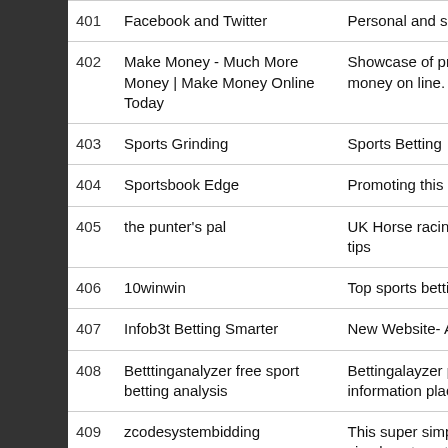| # | Name | Description |
| --- | --- | --- |
| 401 | Facebook and Twitter | Personal and social |
| 402 | Make Money - Much More Money | Make Money Online Today | Showcase of products to make money on line. |
| 403 | Sports Grinding | Sports Betting |
| 404 | Sportsbook Edge | Promoting this amazing ZCode? |
| 405 | the punter's pal | UK Horse racing systems, trends and tips |
| 406 | 10winwin | Top sports betting res |
| 407 | Infob3t Betting Smarter | New Website- About Value betting |
| 408 | Betttinganalyzer free sport betting analysis | Bettingalayzer provides analysis and information place for your conven |
| 409 | zcodesystembidding | This super simple, be changer... This simply automatically analyzin |